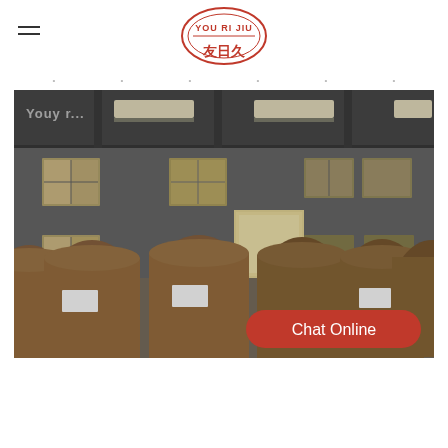YOU RI JIU — logo with Chinese characters 友日久
[Figure (photo): Warehouse interior with large brown paper roll drums/cylinders stored on the floor. The space has large windows, industrial ceiling lighting, and grey walls. White label stickers are visible on the drums. Watermark text 'Youy r...' partially visible top-left. A red 'Chat Online' button overlays the bottom-right of the image.]